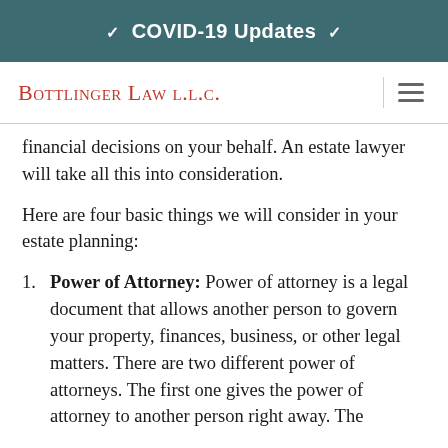❯ COVID-19 Updates ❮
Bottlinger Law l.l.c.
financial decisions on your behalf. An estate lawyer will take all this into consideration.
Here are four basic things we will consider in your estate planning:
1. Power of Attorney: Power of attorney is a legal document that allows another person to govern your property, finances, business, or other legal matters. There are two different power of attorneys. The first one gives the power of attorney to another person right away. The